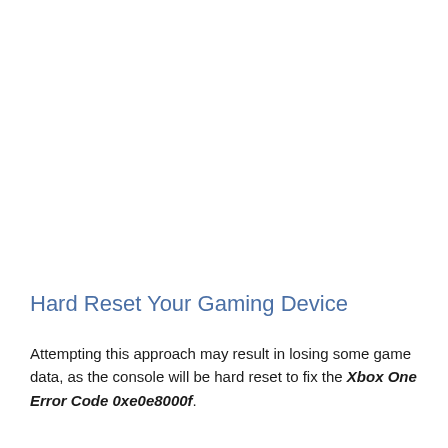Hard Reset Your Gaming Device
Attempting this approach may result in losing some game data, as the console will be hard reset to fix the Xbox One Error Code 0xe0e8000f.